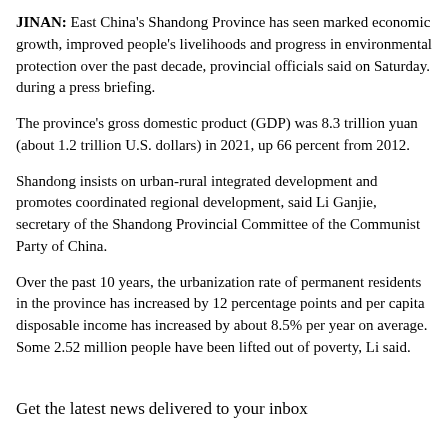JINAN: East China's Shandong Province has seen marked economic growth, improved people's livelihoods and progress in environmental protection over the past decade, provincial officials said on Saturday. during a press briefing.
The province's gross domestic product (GDP) was 8.3 trillion yuan (about 1.2 trillion U.S. dollars) in 2021, up 66 percent from 2012.
Shandong insists on urban-rural integrated development and promotes coordinated regional development, said Li Ganjie, secretary of the Shandong Provincial Committee of the Communist Party of China.
Over the past 10 years, the urbanization rate of permanent residents in the province has increased by 12 percentage points and per capita disposable income has increased by about 8.5% per year on average. Some 2.52 million people have been lifted out of poverty, Li said.
Get the latest news
delivered to your inbox
Sign up for the Manila Times daily newsletters